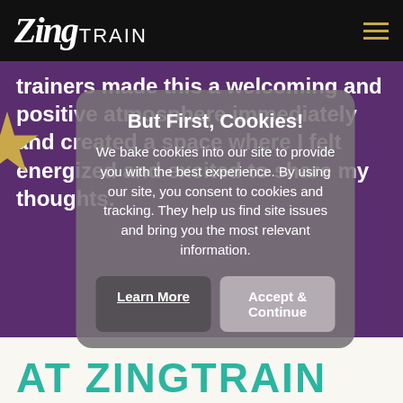ZingTRAIN
trainers made this a welcoming and positive atmosphere immediately and created a space where I felt energized and excited to share my thoughts.
But First, Cookies!
We bake cookies into our site to provide you with the best experience. By using our site, you consent to cookies and tracking. They help us find site issues and bring you the most relevant information.
Learn More
Accept & Continue
AT ZINGTRAIN